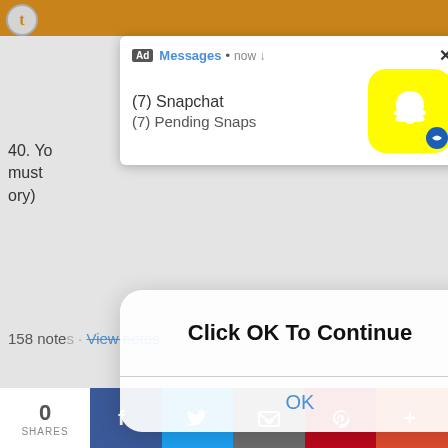[Figure (screenshot): Screenshot of a mobile browser showing a Tumblr page with overlaid ad notifications and dialog boxes. A Snapchat ad notification appears at the top right showing '(7) Snapchat / (7) Pending Snaps'. A modal dialog in the center reads 'Click OK To Continue' with an OK button. The background shows Tumblr content with text '40. Yo... must... ory)', '158 notes · View notes', 'caribbe...an-ace · 9 days ago', 'Text', and a partially visible photo of a person. The bottom has a share bar with 0 SHARES and Facebook, Twitter, Email, Pinterest, and plus buttons.]